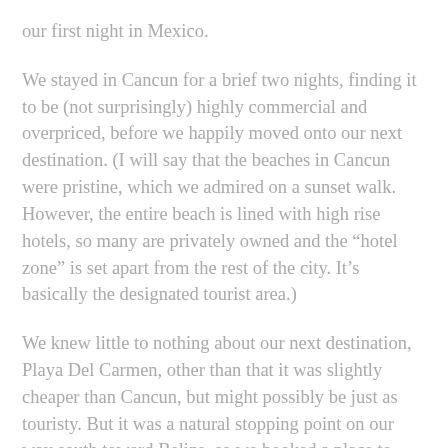our first night in Mexico.
We stayed in Cancun for a brief two nights, finding it to be (not surprisingly) highly commercial and overpriced, before we happily moved onto our next destination. (I will say that the beaches in Cancun were pristine, which we admired on a sunset walk. However, the entire beach is lined with high rise hotels, so many are privately owned and the “hotel zone” is set apart from the rest of the city. It’s basically the designated tourist area.)
We knew little to nothing about our next destination, Playa Del Carmen, other than that it was slightly cheaper than Cancun, but might possibly be just as touristy. But it was a natural stopping point on our way south toward Belize, so we booked a place to stay